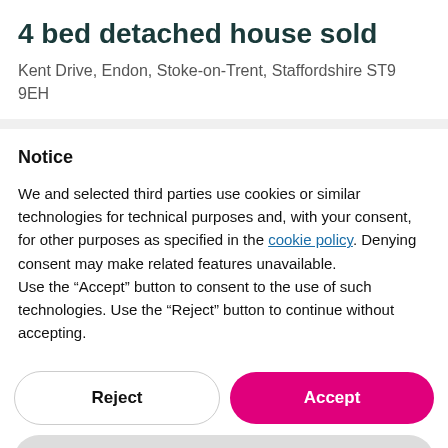4 bed detached house sold
Kent Drive, Endon, Stoke-on-Trent, Staffordshire ST9 9EH
Notice
We and selected third parties use cookies or similar technologies for technical purposes and, with your consent, for other purposes as specified in the cookie policy. Denying consent may make related features unavailable.
Use the “Accept” button to consent to the use of such technologies. Use the “Reject” button to continue without accepting.
Reject
Accept
Learn more and customize